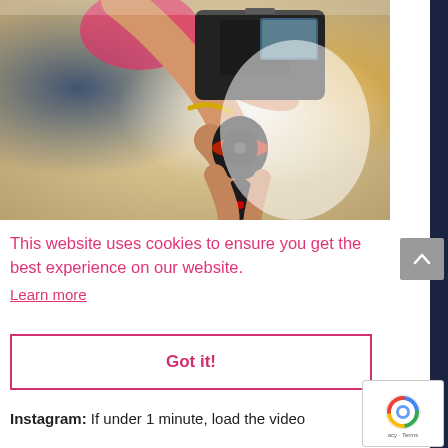[Figure (photo): A person's hands gripping a camera mounted on a tripod/gimbal, with a blurred background of people at an event. The camera has a visible red accent on the gimbal.]
This website uses cookies to ensure you get the best experience on our website.
Learn more
Got it!
Instagram: If under 1 minute, load the video